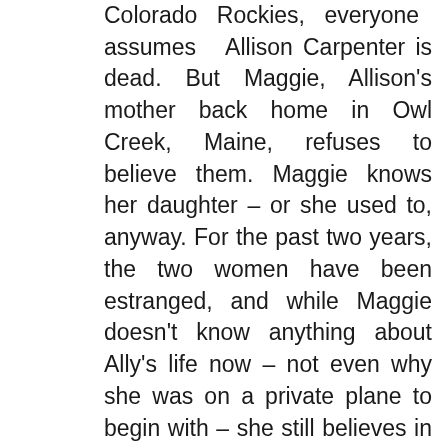Colorado Rockies, everyone assumes Allison Carpenter is dead. But Maggie, Allison's mother back home in Owl Creek, Maine, refuses to believe them. Maggie knows her daughter – or she used to, anyway. For the past two years, the two women have been estranged, and while Maggie doesn't know anything about Ally's life now – not even why she was on a private plane to begin with – she still believes in her girl's strength, and in their love for each other. As Allison struggles across the treacherous mountain wilderness, Maggie embarks on a desperate search for answers about the world Allison has been involved in. What was she running from? And can Maggie uncover the truth in time to save her? Told from the perspectives of a mother and daughter separated by distance but united by